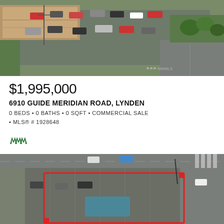[Figure (photo): Aerial view of commercial property with parking lot, cars, and surrounding green areas]
$1,995,000
6910 GUIDE MERIDIAN ROAD, LYNDEN
0 BEDS • 0 BATHS • 0 SQFT • COMMERCIAL SALE • MLS® # 1928648
[Figure (logo): NWMLS logo mark in green]
[Figure (photo): Aerial view of commercial property with red boundary outline, parking lot, and street]